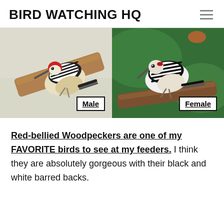BIRD WATCHING HQ
[Figure (photo): Two side-by-side photos of Red-bellied Woodpeckers. Left photo shows a male woodpecker on a branch with label 'Male'. Right photo shows a female woodpecker on a branch against a green background with label 'Female'.]
Red-bellied Woodpeckers are one of my FAVORITE birds to see at my feeders. I think they are absolutely gorgeous with their black and white barred backs.